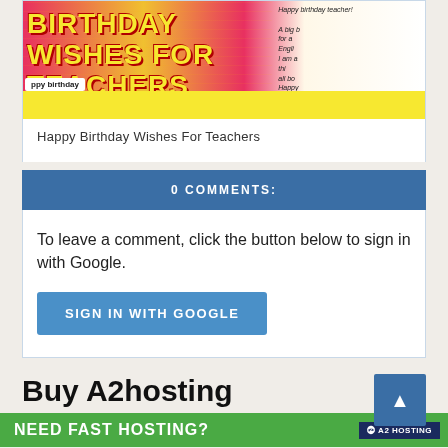[Figure (photo): Birthday wishes for teachers collage image with colorful text and balloons]
Happy Birthday Wishes For Teachers
0 COMMENTS:
To leave a comment, click the button below to sign in with Google.
SIGN IN WITH GOOGLE
Buy A2hosting
NEED FAST HOSTING?
A2 HOSTING